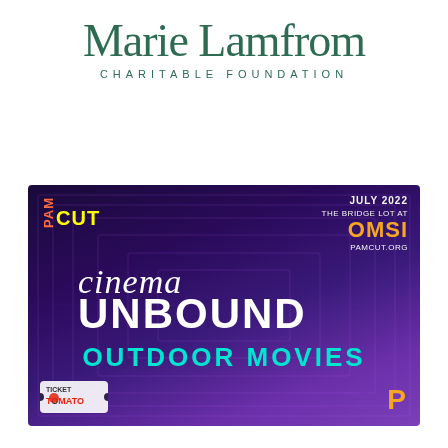[Figure (logo): Marie Lamfrom Charitable Foundation logo in dark green serif font with 'CHARITABLE FOUNDATION' in spaced sans-serif below]
[Figure (illustration): Cinema Unbound Outdoor Movies event flyer for PAMcut, July 2022 at The Bridge Lot at OMSI, pamcut.org. Dark purple/violet gradient background with grid lines. Logos for Ticket Tomato and PAM P symbol. Text: cinema UNBOUND OUTDOOR MOVIES.]